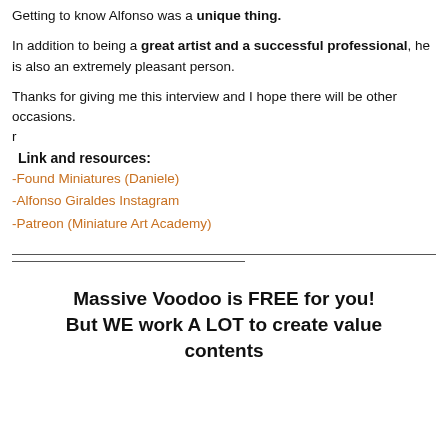Getting to know Alfonso was a unique thing.
In addition to being a great artist and a successful professional, he is also an extremely pleasant person.
Thanks for giving me this interview and I hope there will be other occasions.
r
Link and resources:
-Found Miniatures (Daniele)
-Alfonso Giraldes Instagram
-Patreon (Miniature Art Academy)
Massive Voodoo is FREE for you! But WE work A LOT to create value contents